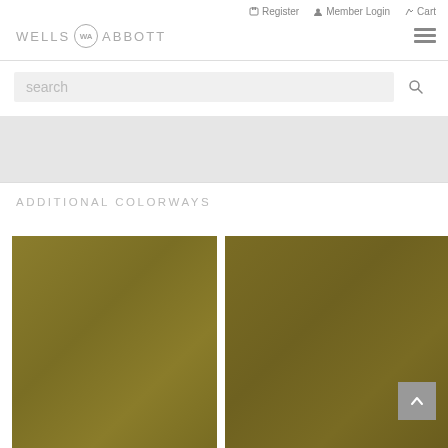Register   Member Login   Cart
[Figure (logo): Wells Abbott logo with circular WA emblem]
search
[Figure (illustration): Gray banner/advertisement area]
ADDITIONAL COLORWAYS
[Figure (photo): Olive/gold colored fabric swatch - left]
[Figure (photo): Olive/gold colored fabric swatch - right, darker]